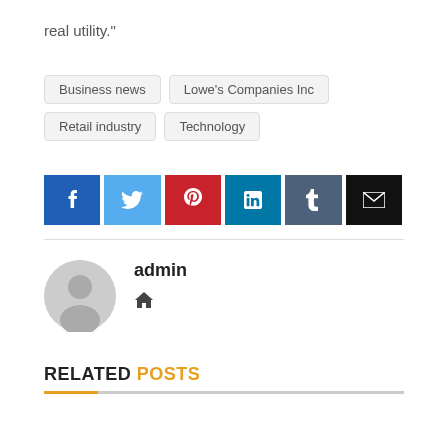real utility."
Business news
Lowe's Companies Inc
Retail industry
Technology
[Figure (infographic): Social media share buttons: Facebook (blue), Twitter (light blue), Pinterest (red), LinkedIn (teal), Tumblr (dark blue-gray), Email (black)]
admin
[Figure (illustration): Gray default avatar/profile icon (silhouette of a person)]
[Figure (illustration): Home icon (house symbol)]
RELATED POSTS